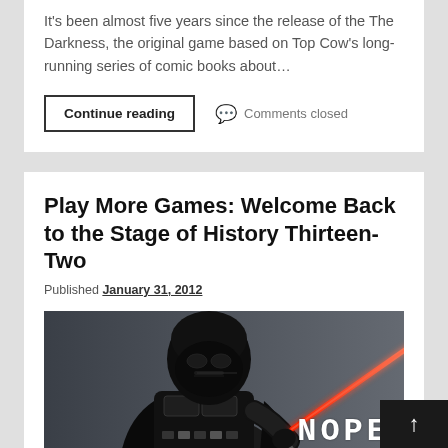It's been almost five years since the release of the The Darkness, the original game based on Top Cow's long-running series of comic books about...
Continue reading
Comments closed
Play More Games: Welcome Back to the Stage of History Thirteen-Two
Published January 31, 2012
[Figure (photo): Photo of Darth Vader holding a red lightsaber against a gray background, with the word NOPE overlaid in white monospace letters at the bottom right.]
It's the end of January and that refreshing winter